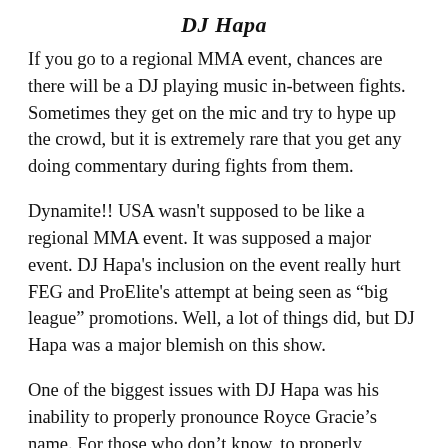DJ Hapa
If you go to a regional MMA event, chances are there will be a DJ playing music in-between fights. Sometimes they get on the mic and try to hype up the crowd, but it is extremely rare that you get any doing commentary during fights from them.
Dynamite!! USA wasn't supposed to be like a regional MMA event. It was supposed a major event. DJ Hapa's inclusion on the event really hurt FEG and ProElite's attempt at being seen as “big league” promotions. Well, a lot of things did, but DJ Hapa was a major blemish on this show.
One of the biggest issues with DJ Hapa was his inability to properly pronounce Royce Gracie’s name. For those who don’t know, to properly